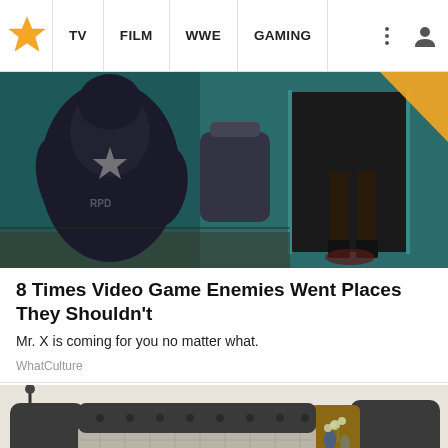TV  FILM  WWE  GAMING
[Figure (screenshot): Video game screenshot showing a large armored enemy character (Mr. X from Resident Evil) in a dark teal/green corridor environment]
8 Times Video Game Enemies Went Places They Shouldn't
Mr. X is coming for you no matter what.
WhatCulture
[Figure (photo): Product photo of a modern smart bed with grey upholstered frame, built-in wooden shelves and side tables, checkered bedding, yellow decorative pillow, and speaker panels]